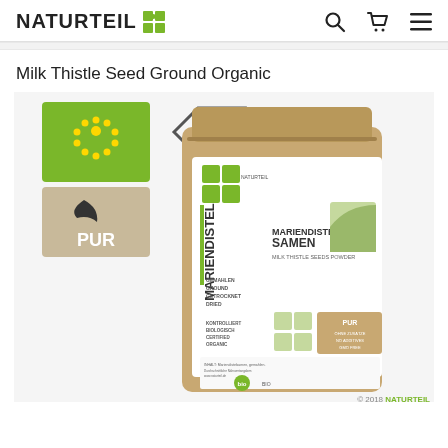NATURTEIL
Milk Thistle Seed Ground Organic
[Figure (photo): Product photo of Naturteil Mariendistel Samen (Milk Thistle Seeds Powder) organic package in kraft paper bag, shown with EU organic star logo, BIO certification hexagon badge, and PUR label in front]
© 2018 NATURTEIL